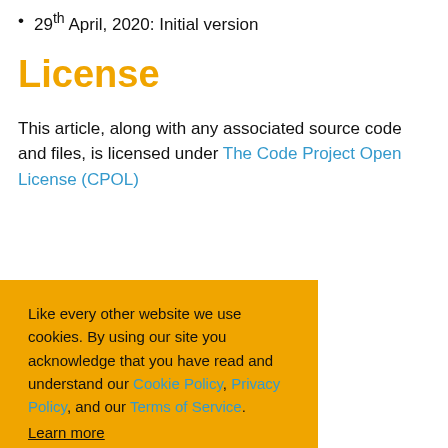29th April, 2020: Initial version
License
This article, along with any associated source code and files, is licensed under The Code Project Open License (CPOL)
Like every other website we use cookies. By using our site you acknowledge that you have read and understand our Cookie Policy, Privacy Policy, and our Terms of Service. Learn more
Ask me later   Decline   Allow cookies